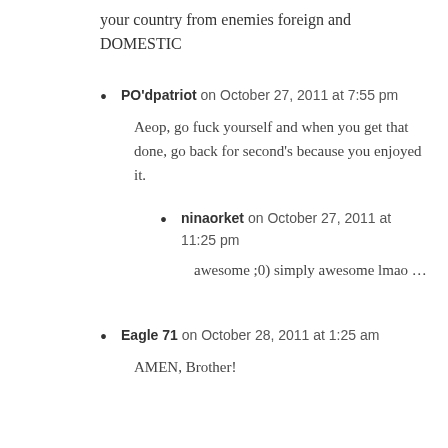your country from enemies foreign and DOMESTIC
PO'dpatriot on October 27, 2011 at 7:55 pm
Aeop, go fuck yourself and when you get that done, go back for second’s because you enjoyed it.
ninaorket on October 27, 2011 at 11:25 pm
awesome ;0) simply awesome lmao …
Eagle 71 on October 28, 2011 at 1:25 am
AMEN, Brother!